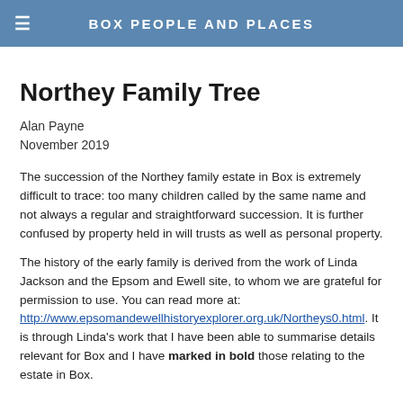BOX PEOPLE AND PLACES
Northey Family Tree
Alan Payne
November 2019
The succession of the Northey family estate in Box is extremely difficult to trace: too many children called by the same name and not always a regular and straightforward succession. It is further confused by property held in will trusts as well as personal property.
The history of the early family is derived from the work of Linda Jackson and the Epsom and Ewell site, to whom we are grateful for permission to use. You can read more at: http://www.epsomandewellhistoryexplorer.org.uk/Northeys0.html. It is through Linda's work that I have been able to summarise details relevant for Box and I have marked in bold those relating to the estate in Box.